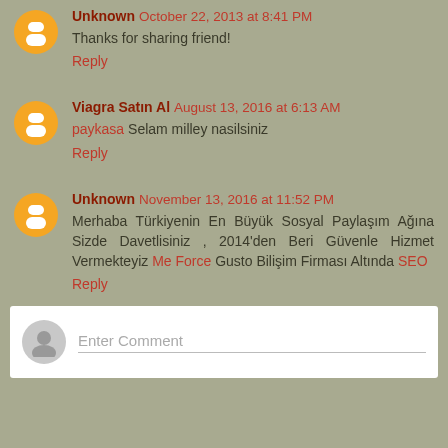Unknown October 22, 2013 at 8:41 PM — Thanks for sharing friend!
Reply
Viagra Satın Al August 13, 2016 at 6:13 AM — paykasa Selam milley nasilsiniz
Reply
Unknown November 13, 2016 at 11:52 PM — Merhaba Türkiyenin En Büyük Sosyal Paylaşım Ağına Sizde Davetlisiniz , 2014'den Beri Güvenle Hizmet Vermekteyiz Me Force Gusto Bilişim Firması Altında SEO
Reply
Enter Comment